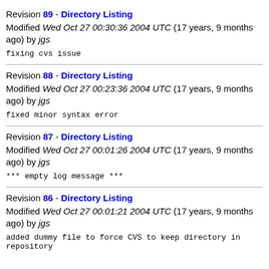Revision 89 - Directory Listing
Modified Wed Oct 27 00:30:36 2004 UTC (17 years, 9 months ago) by jgs
fixing cvs issue
Revision 88 - Directory Listing
Modified Wed Oct 27 00:23:36 2004 UTC (17 years, 9 months ago) by jgs
fixed minor syntax error
Revision 87 - Directory Listing
Modified Wed Oct 27 00:01:26 2004 UTC (17 years, 9 months ago) by jgs
*** empty log message ***
Revision 86 - Directory Listing
Modified Wed Oct 27 00:01:21 2004 UTC (17 years, 9 months ago) by jgs
added dummy file to force CVS to keep directory in repository